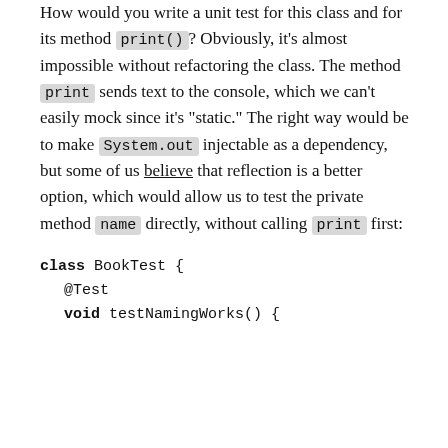How would you write a unit test for this class and for its method print()? Obviously, it's almost impossible without refactoring the class. The method print sends text to the console, which we can't easily mock since it's "static." The right way would be to make System.out injectable as a dependency, but some of us believe that reflection is a better option, which would allow us to test the private method name directly, without calling print first:
class BookTest {
  @Test
  void testNamingWorks() {